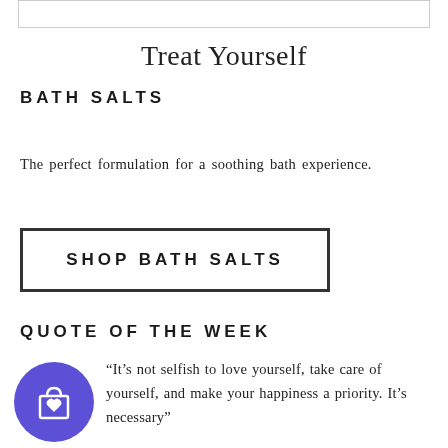[Figure (other): Top border/image placeholder box]
Treat Yourself
BATH SALTS
The perfect formulation for a soothing bath experience.
SHOP BATH SALTS
QUOTE OF THE WEEK
[Figure (illustration): Purple circle with shopping bag and heart icon]
“It’s not selfish to love yourself, take care of yourself, and make your happiness a priority. It’s necessary”